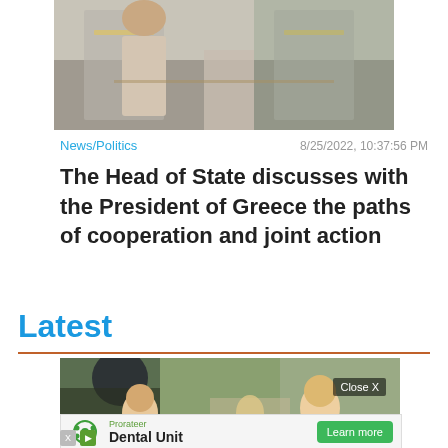[Figure (photo): Photo of officials seated in formal chairs, appears to be a diplomatic meeting setting with ornate gold furniture]
News/Politics
8/25/2022, 10:37:56 PM
The Head of State discusses with the President of Greece the paths of cooperation and joint action
Latest
[Figure (photo): Outdoor photo of people including a blonde child and adults, with a dark umbrella visible, in what appears to be an outdoor market or street setting]
Close X
Prorateer
Dental Unit
Learn more